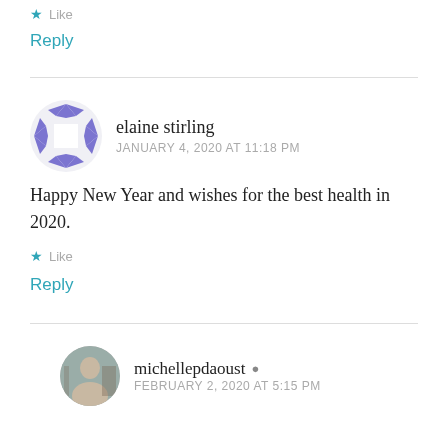Like
Reply
elaine stirling
JANUARY 4, 2020 AT 11:18 PM
Happy New Year and wishes for the best health in 2020.
Like
Reply
michellepdaoust
FEBRUARY 2, 2020 AT 5:15 PM